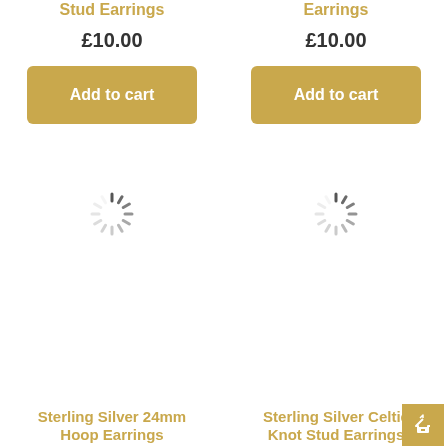Stud Earrings
Earrings
£10.00
£10.00
[Figure (other): Add to cart button (gold/tan background, white text)]
[Figure (other): Add to cart button (gold/tan background, white text)]
[Figure (other): Loading spinner icon (circular dashed spinner graphic)]
[Figure (other): Loading spinner icon (circular dashed spinner graphic)]
Sterling Silver 24mm Hoop Earrings
Sterling Silver Celtic Knot Stud Earrings
[Figure (other): Back to top button with house/arrow icon, gold background, bottom right corner]